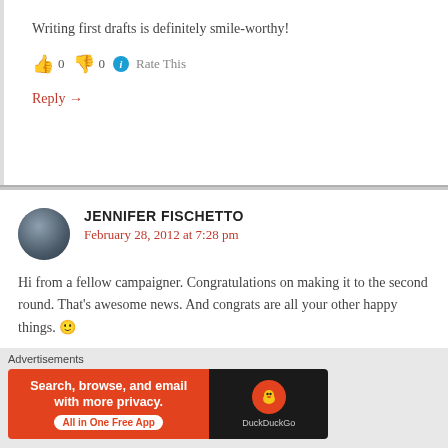Writing first drafts is definitely smile-worthy!
👍 0 👎 0 ℹ Rate This
Reply →
JENNIFER FISCHETTO
February 28, 2012 at 7:28 pm
Hi from a fellow campaigner. Congratulations on making it to the second round. That's awesome news. And congrats are all your other happy things. 🙂
Advertisements
[Figure (screenshot): DuckDuckGo advertisement banner: orange section with text 'Search, browse, and email with more privacy. All in One Free App' and dark section with DuckDuckGo logo]